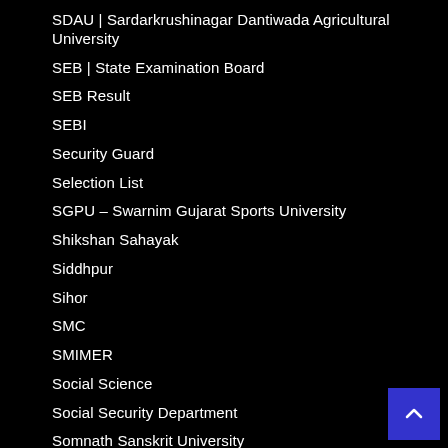SDAU | Sardarkrushinagar Dantiwada Agricultural University
SEB | State Examination Board
SEB Result
SEBI
Security Guard
Selection List
SGPU – Swarnim Gujarat Sports University
Shikshan Sahayak
Siddhpur
Sihor
SMC
SMIMER
Social Science
Social Security Department
Somnath Sanskrit University